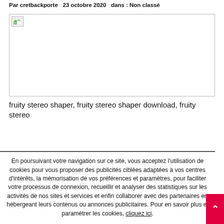Par cretbackporte   23 octobre 2020   dans : Non classé
[Figure (photo): Broken image placeholder with small icon in top-left corner, wide rectangular area with border]
fruity stereo shaper, fruity stereo shaper download, fruity stereo
En poursuivant votre navigation sur ce site, vous acceptez l'utilisation de cookies pour vous proposer des publicités ciblées adaptées à vos centres d'intérêts, la mémorisation de vos préférences et paramètres, pour faciliter votre processus de connexion, recueillir et analyser des statistiques sur les activités de nos sites et services et enfin collaborer avec des partenaires en hébergeant leurs contenus ou annonces publicitaires. Pour en savoir plus et paramétrer les cookies, cliquez ici.